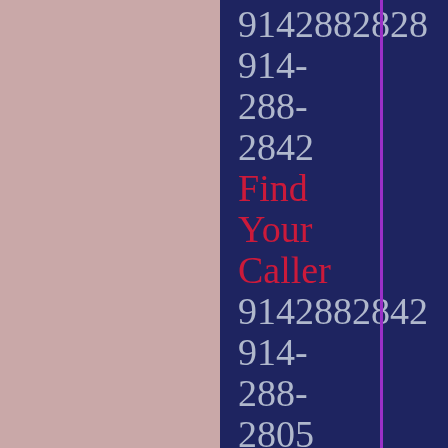9142882828
914-
288-
2842
Find
Your
Caller
9142882842
914-
288-
2805
Caller
Finder
9142882805
914-
288-